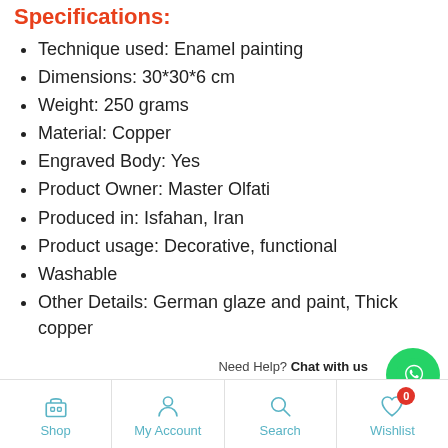Specifications:
Technique used: Enamel painting
Dimensions: 30*30*6 cm
Weight: 250 grams
Material: Copper
Engraved Body: Yes
Product Owner: Master Olfati
Produced in: Isfahan, Iran
Product usage: Decorative, functional
Washable
Other Details: German glaze and paint, Thick copper
Shop | My Account | Search | Wishlist